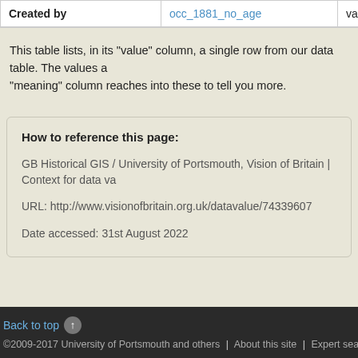| Created by | occ_1881_no_age | values, this database, |
| --- | --- | --- |
| Created by | occ_1881_no_age | values, this database, |
This table lists, in its "value" column, a single row from our data table. The values a "meaning" column reaches into these to tell you more.
How to reference this page:
GB Historical GIS / University of Portsmouth, Vision of Britain | Context for data va
URL: http://www.visionofbritain.org.uk/datavalue/74339607
Date accessed: 31st August 2022
Back to top | ©2009-2017 University of Portsmouth and others | About this site | Expert search | Web